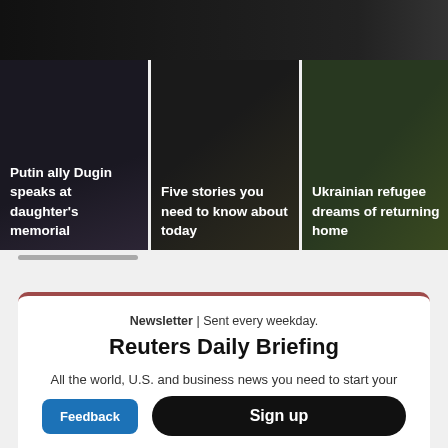[Figure (photo): Dark top image strip, partial view of a news photo]
[Figure (photo): Thumbnail card: Putin ally Dugin speaks at daughter's memorial — dark crowd photo]
[Figure (photo): Thumbnail card: Five stories you need to know about today — dark background]
[Figure (photo): Thumbnail card: Ukrainian refugee dreams of returning home — outdoor crowd photo]
Reuters Daily Briefing
Newsletter | Sent every weekday.
All the world, U.S. and business news you need to start your day, curated by Reuters journalists.
Sign up
Feedback